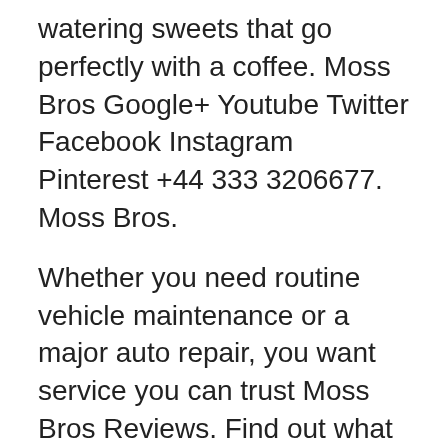watering sweets that go perfectly with a coffee. Moss Bros Google+ Youtube Twitter Facebook Instagram Pinterest +44 333 3206677. Moss Bros.
Whether you need routine vehicle maintenance or a major auto repair, you want service you can trust Moss Bros Reviews. Find out what genuine customers have said about moss.co. uk. Real reviews from real people. Moss Bros. Auto Group History. In 1921, J.A. "Red" Moss, Sr. opened his first dealership in Blythe, California.
Trampoline park sverige göteborg
Est. 1851. Buy online and get free UK home delivery or collect in one of our stores. Moss Bros Google+ Youtube Twitter Facebook Instagram Pinterest +44 333 3206677. Moss Bros. is the UK's